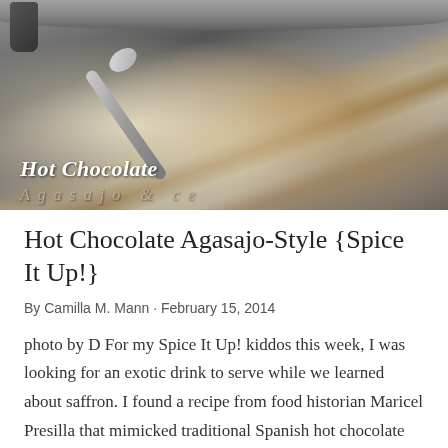[Figure (photo): Close-up photo of a silver cooking pot with hot chocolate being stirred, showing creamy beige mixture with brown streaks. Text overlay reads 'Hot Chocolate' in bold italic white font, with decorative script below.]
Hot Chocolate Agasajo-Style {Spice It Up!}
By Camilla M. Mann · February 15, 2014
photo by D For my Spice It Up! kiddos this week, I was looking for an exotic drink to serve while we learned about saffron. I found a recipe from food historian Maricel Presilla that mimicked traditional Spanish hot chocolate from the 17th century whe… …